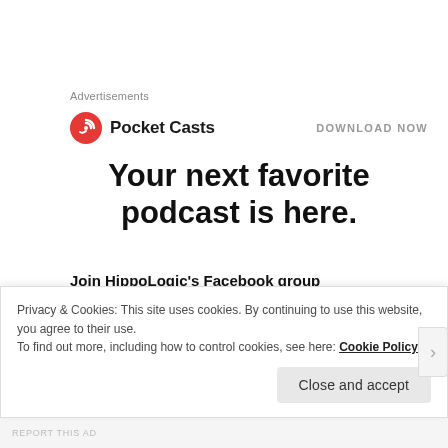Advertisements
[Figure (logo): Pocket Casts logo with red circular icon and bold text 'Pocket Casts', with 'DOWNLOAD NOW' link on the right]
Your next favorite podcast is here.
Join HippoLogic's Facebook group
Become a member of our Happy Herd on Facebook and get access to my Facebook LIVE's.
Privacy & Cookies: This site uses cookies. By continuing to use this website, you agree to their use.
To find out more, including how to control cookies, see here: Cookie Policy
Close and accept